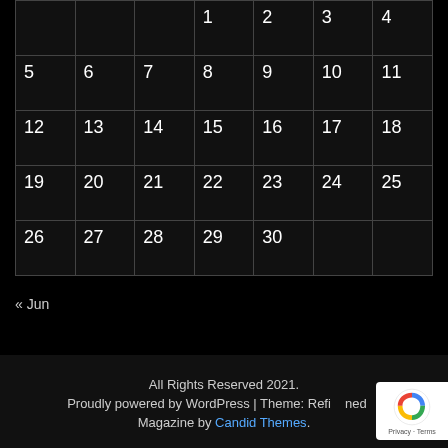|  |  |  |  |  |  |  |
| --- | --- | --- | --- | --- | --- | --- |
|  |  |  | 1 | 2 | 3 | 4 |
| 5 | 6 | 7 | 8 | 9 | 10 | 11 |
| 12 | 13 | 14 | 15 | 16 | 17 | 18 |
| 19 | 20 | 21 | 22 | 23 | 24 | 25 |
| 26 | 27 | 28 | 29 | 30 |  |  |
« Jun
All Rights Reserved 2021.
Proudly powered by WordPress | Theme: Refined Magazine by Candid Themes.